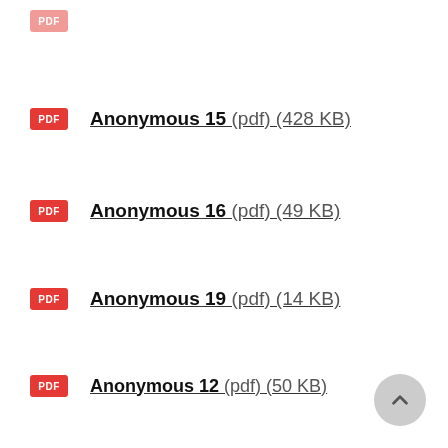Anonymous 15 (pdf) (428 KB)
Anonymous 16 (pdf) (49 KB)
Anonymous 19 (pdf) (14 KB)
Anonymous 12 (pdf) (50 KB)
Anonymous 13 (pdf) (37 KB)
Anonymous 14 (pdf) (16 KB)